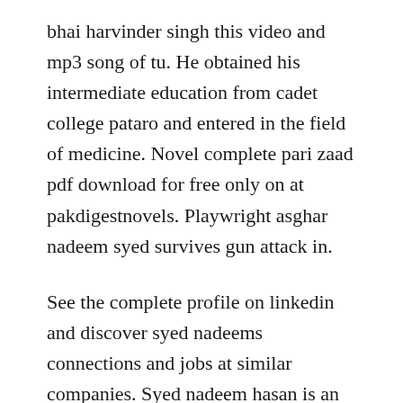bhai harvinder singh this video and mp3 song of tu. He obtained his intermediate education from cadet college pataro and entered in the field of medicine. Novel complete pari zaad pdf download for free only on at pakdigestnovels. Playwright asghar nadeem syed survives gun attack in.
See the complete profile on linkedin and discover syed nadeems connections and jobs at similar companies. Syed nadeem hasan is an internal medicine specialist in new port richey, florida. Sahi, hashim nadeem khan,